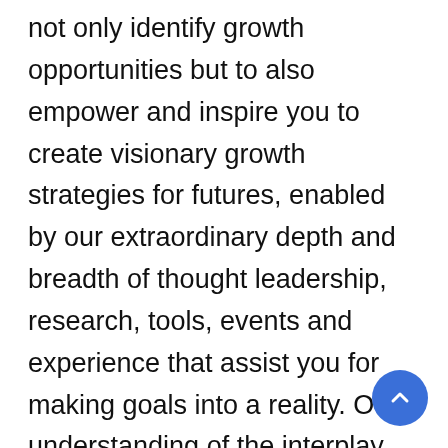not only identify growth opportunities but to also empower and inspire you to create visionary growth strategies for futures, enabled by our extraordinary depth and breadth of thought leadership, research, tools, events and experience that assist you for making goals into a reality. Our understanding of the interplay between industry convergence, Mega Trends, technologies and market trends provides our clients with new business models and expansion opportunities. We are focused on identifying the “Accurate Forecast” in every industry we cover so our clients can reap the benefits of being early market entrants and can accomplish their “Goals & Objectives”.